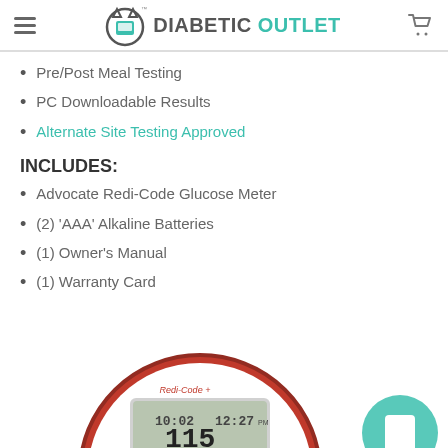DIABETIC OUTLET
Pre/Post Meal Testing
PC Downloadable Results
Alternate Site Testing Approved
INCLUDES:
Advocate Redi-Code Glucose Meter
(2) 'AAA' Alkaline Batteries
(1) Owner's Manual
(1) Warranty Card
[Figure (photo): Advocate Redi-Code+ glucose meter device showing digital display with time 10:02 and 12:27, circular red and white design]